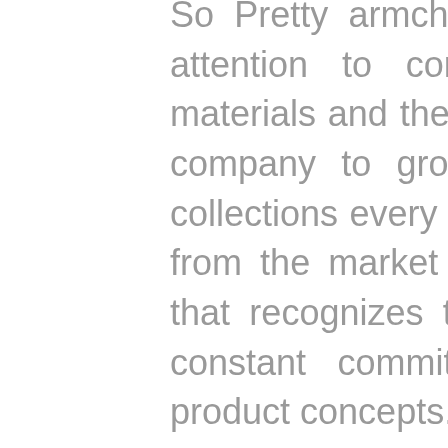So Pretty armchair and Gotham chair. The attention to comfort, the quality of the materials and the careful production allow the company to grow rapidly by offering new collections every year and obtaining feedback from the market and the international press that recognizes their strong personality and constant commitment to search for new product concepts.
In 2014, Chairs & More starts the collaboration with young designers; Kazuko Okamoto designs the Churros collection, which interprets the concept of modular seating, Antonio de Marco and Simone Fanciullacci design the Jujubee for outdoor use.
Since then, the company has been continuously committed to developing new products by selecting young and talented designers like Tommaso Caldera, winning the second award at the Young Design 2017